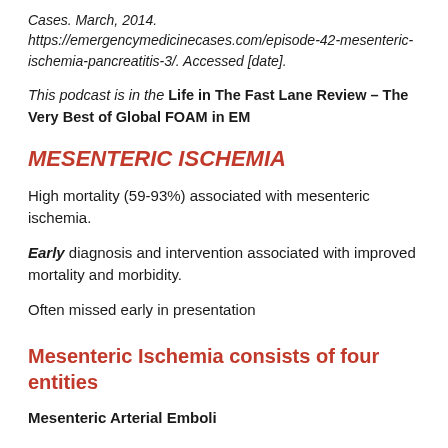Cases. March, 2014. https://emergencymedicinecases.com/episode-42-mesenteric-ischemia-pancreatitis-3/. Accessed [date].
This podcast is in the Life in The Fast Lane Review – The Very Best of Global FOAM in EM
MESENTERIC ISCHEMIA
High mortality (59-93%) associated with mesenteric ischemia.
Early diagnosis and intervention associated with improved mortality and morbidity.
Often missed early in presentation
Mesenteric Ischemia consists of four entities
Mesenteric Arterial Emboli